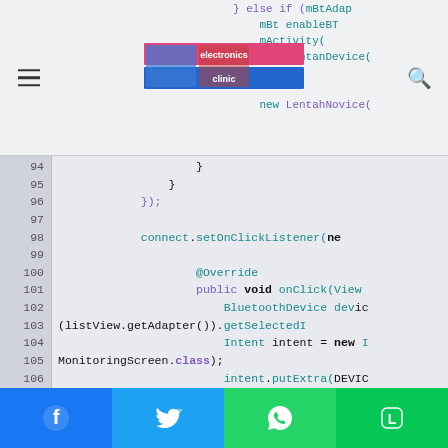Electronics Clinic - website header with logo, hamburger menu and search icon
[Figure (screenshot): Java/Android code snippet showing lines 94-114 with setOnClickListener, BluetoothDevice, Intent, MonitoringScreen, putExtra, startActivity code]
Social share buttons: Facebook, Twitter, WhatsApp, LINE